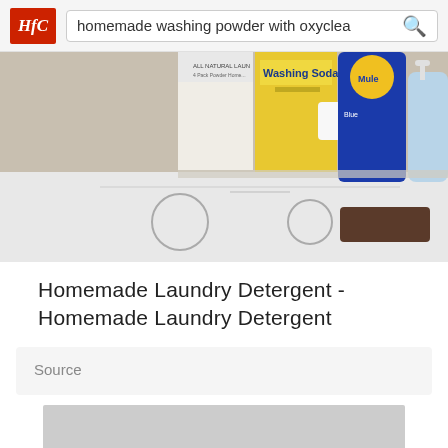homemade washing powder with oxyclea
[Figure (photo): Photo showing laundry detergent products on a shelf above a washing machine, including Washing Soda box, a blue bottle of Mule detergent, a white bar of soap, and a blue container with pump.]
Homemade Laundry Detergent - Homemade Laundry Detergent
Source
[Figure (photo): Second photo placeholder, shown as a gray rectangle.]